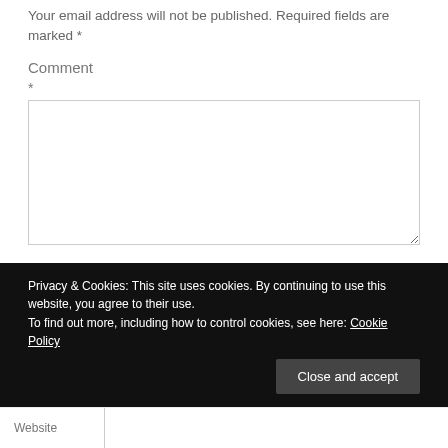Your email address will not be published. Required fields are marked *
Comment
*
[Figure (screenshot): Empty textarea input box for comment entry]
Privacy & Cookies: This site uses cookies. By continuing to use this website, you agree to their use.
To find out more, including how to control cookies, see here: Cookie Policy
Close and accept